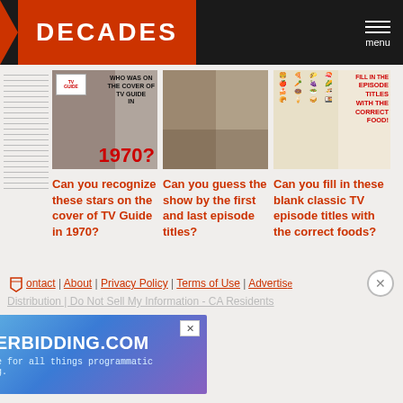DECADES | menu
[Figure (screenshot): TV Guide cover with 1970 text and star photo]
[Figure (photo): Woman on phone, possibly Mary Tyler Moore]
[Figure (infographic): Food icons grid with Fill In The Episode Titles text]
Can you recognize these stars on the cover of TV Guide in 1970?
Can you guess the show by the first and last episode titles?
Can you fill in these blank classic TV episode titles with the correct foods?
Contact | About | Privacy Policy | Terms of Use | Advertise | Distribution | Do Not Sell My Information - CA Residents
[Figure (screenshot): HEADERBIDDING.COM ad banner - Your source for all things programmatic advertising.]